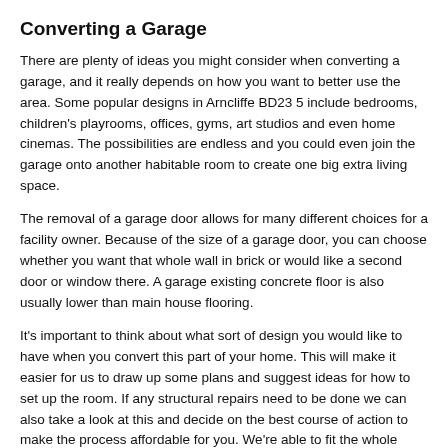Converting a Garage
There are plenty of ideas you might consider when converting a garage, and it really depends on how you want to better use the area. Some popular designs in Arncliffe BD23 5 include bedrooms, children's playrooms, offices, gyms, art studios and even home cinemas. The possibilities are endless and you could even join the garage onto another habitable room to create one big extra living space.
The removal of a garage door allows for many different choices for a facility owner. Because of the size of a garage door, you can choose whether you want that whole wall in brick or would like a second door or window there. A garage existing concrete floor is also usually lower than main house flooring.
It's important to think about what sort of design you would like to have when you convert this part of your home. This will make it easier for us to draw up some plans and suggest ideas for how to set up the room. If any structural repairs need to be done we can also take a look at this and decide on the best course of action to make the process affordable for you. We're able to fit the whole